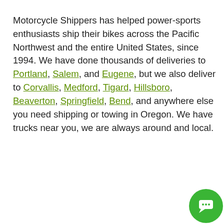Motorcycle Shippers has helped power-sports enthusiasts ship their bikes across the Pacific Northwest and the entire United States, since 1994. We have done thousands of deliveries to Portland, Salem, and Eugene, but we also deliver to Corvallis, Medford, Tigard, Hillsboro, Beaverton, Springfield, Bend, and anywhere else you need shipping or towing in Oregon. We have trucks near you, we are always around and local.
We have 2 terminals to help service you and save you money!
We use cookies to ensure that we give you the best experience on our website. By clicking Ok, you agree to the storing of cookies on your device to enhance site navigation, analyze site usage, and assist in our marketing efforts.
OK
and Tualatin motorcycle s. These dispatch s in the s ustomers